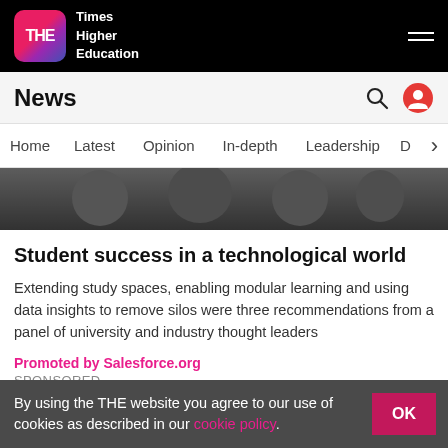THE Times Higher Education
News
Home
Latest
Opinion
In-depth
Leadership
[Figure (photo): Students or people in discussion, dark background]
Student success in a technological world
Extending study spaces, enabling modular learning and using data insights to remove silos were three recommendations from a panel of university and industry thought leaders
Promoted by Salesforce.org
SPONSORED
By using the THE website you agree to our use of cookies as described in our cookie policy. OK